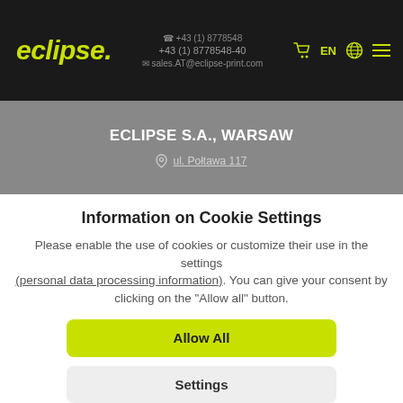eclipse. | +43 (1) 8778548 | +43 (1) 8778548-40 | sales.AT@eclipse-print.com | EN
ECLIPSE S.A., WARSAW
ul. Połtawa 117
Information on Cookie Settings
Please enable the use of cookies or customize their use in the settings (personal data processing information). You can give your consent by clicking on the "Allow all" button.
Allow All
Settings